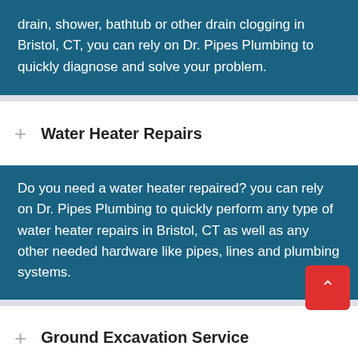drain, shower, bathtub or other drain clogging in Bristol, CT, you can rely on Dr. Pipes Plumbing to quickly diagnose and solve your problem.
Water Heater Repairs
Do you need a water heater repaired? you can rely on Dr. Pipes Plumbing to quickly perform any type of water heater repairs in Bristol, CT as well as any other needed hardware like pipes, lines and plumbing systems.
Ground Excavation Service